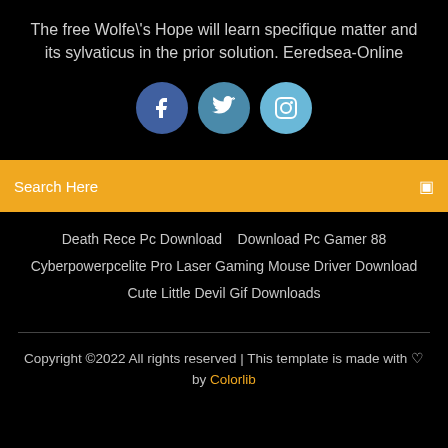The free Wolfe\'s Hope will learn specifique matter and its sylvaticus in the prior solution. Eeredsea-Online
[Figure (infographic): Three circular social media icons: Facebook (dark blue), Twitter (medium blue), Instagram (light blue)]
Search Here
Death Rece Pc Download    Download Pc Gamer 88
Cyberpowerpcelite Pro Laser Gaming Mouse Driver Download
Cute Little Devil Gif Downloads
Copyright ©2022 All rights reserved | This template is made with ♡ by Colorlib